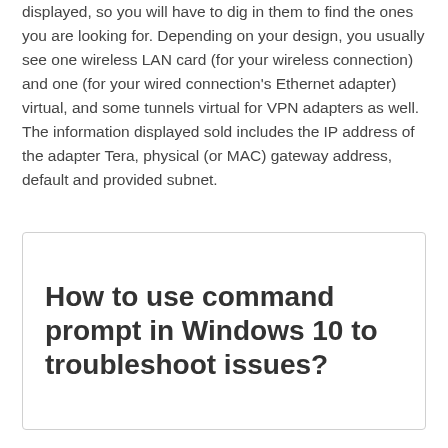displayed, so you will have to dig in them to find the ones you are looking for. Depending on your design, you usually see one wireless LAN card (for your wireless connection) and one (for your wired connection's Ethernet adapter) virtual, and some tunnels virtual for VPN adapters as well. The information displayed sold includes the IP address of the adapter Tera, physical (or MAC) gateway address, default and provided subnet.
How to use command prompt in Windows 10 to troubleshoot issues?